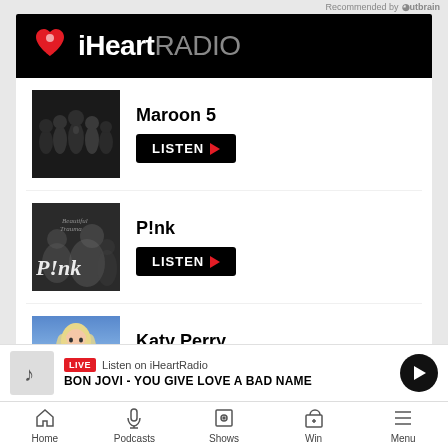Recommended by Outbrain
[Figure (logo): iHeartRadio logo with heart icon on black background]
[Figure (photo): Maroon 5 band photo (dark group photo)]
Maroon 5
LISTEN ▶
[Figure (photo): P!nk artist photo (black and white with P!nk text overlay)]
P!nk
LISTEN ▶
[Figure (photo): Katy Perry photo (blue/pink background with blonde artist in pink outfit)]
Katy Perry
LISTEN ▶
Listen to iHeartRadio »
LIVE Listen on iHeartRadio
BON JOVI - YOU GIVE LOVE A BAD NAME
Home   Podcasts   Shows   Win   Menu